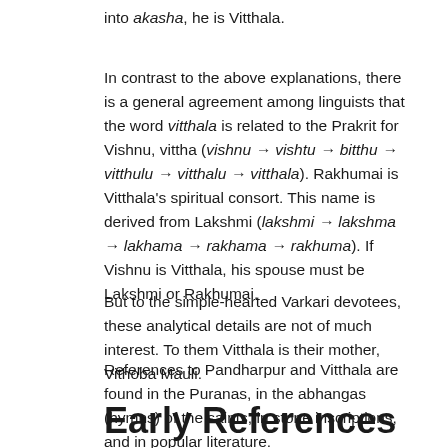into akasha, he is Vitthala.
In contrast to the above explanations, there is a general agreement among linguists that the word vitthala is related to the Prakrit for Vishnu, vittha (vishnu → vishtu → bitthu → vitthulu → vitthalu → vitthala). Rakhumai is Vitthala's spiritual consort. This name is derived from Lakshmi (lakshmi → lakshma → lakhama → rakhama → rakhuma). If Vishnu is Vitthala, his spouse must be Lakshmi or Rakhumai.
But to the simple-hearted Varkari devotees, these analytical details are not of much interest. To them Vitthala is their mother, Vithoba Mauli.
References to Pandharpur and Vitthala are found in the Puranas, in the abhangas (hymns) of the saints, in stone inscriptions, and in popular literature.
Early References to Pandharpur and Vitthala